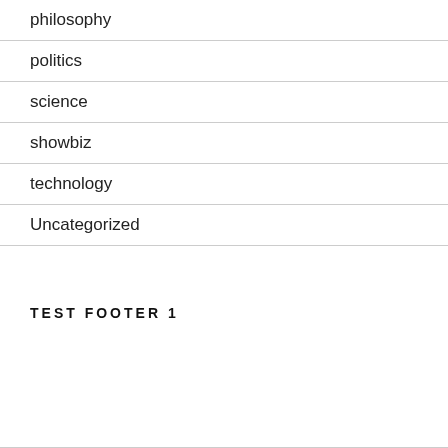philosophy
politics
science
showbiz
technology
Uncategorized
TEST FOOTER 1